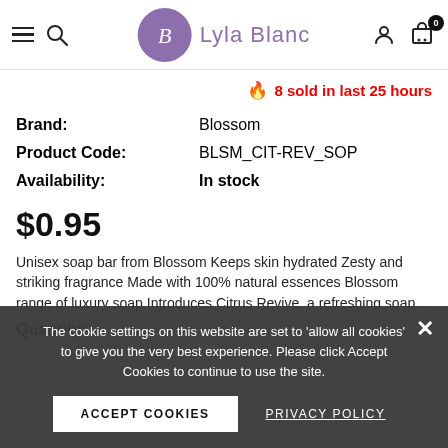Lyla Blanc — navigation header with logo, search, account, and cart icons
🔥 8 sold in last 25 hours
| Field | Value |
| --- | --- |
| Brand: | Blossom |
| Product Code: | BLSM_CIT-REV_SOP |
| Availability: | In stock |
$0.95
Unisex soap bar from Blossom Keeps skin hydrated Zesty and striking fragrance Made with 100% natural essences Blossom range of luxury soap Introduces Citrus Revive, a refreshing soap...
Quantity:
The cookie settings on this website are set to 'allow all cookies' to give you the very best experience. Please click Accept Cookies to continue to use the site.